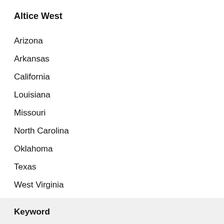Altice West
Arizona
Arkansas
California
Louisiana
Missouri
North Carolina
Oklahoma
Texas
West Virginia
Explore the places, people, and events that make up our Optimum and Suddenlink communities.
Keyword